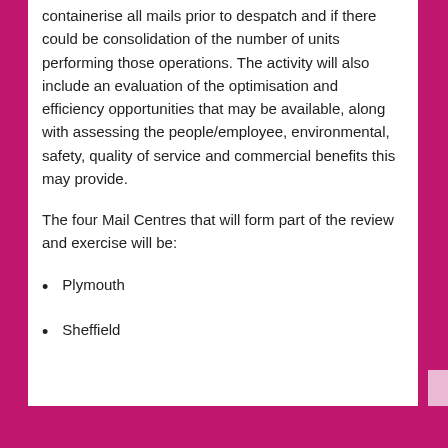containerise all mails prior to despatch and if there could be consolidation of the number of units performing those operations. The activity will also include an evaluation of the optimisation and efficiency opportunities that may be available, along with assessing the people/employee, environmental, safety, quality of service and commercial benefits this may provide.
The four Mail Centres that will form part of the review and exercise will be:
Plymouth
Sheffield
Privacy & Cookies: This site uses cookies. By continuing to use this website, you agree to their use. To find out more, including how to control cookies, see here: Cookie Policy